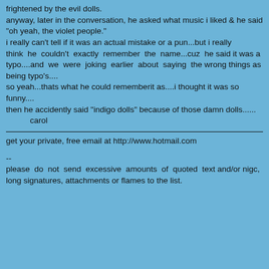frightened by the evil dolls.
anyway, later in the conversation, he asked what music i liked & he said
"oh yeah, the violet people."
i really can't tell if it was an actual mistake or a pun...but i really
think he couldn't exactly remember the name...cuz he said it was a
typo....and we were joking earlier about saying the wrong things as
being typo's....
so yeah...thats what he could rememberit as....i thought it was so
funny....
then he accidently said "indigo dolls" because of those damn dolls......
    carol
get your private, free email at http://www.hotmail.com
--
please do not send excessive amounts of quoted text and/or nigc,
long signatures, attachments or flames to the list.